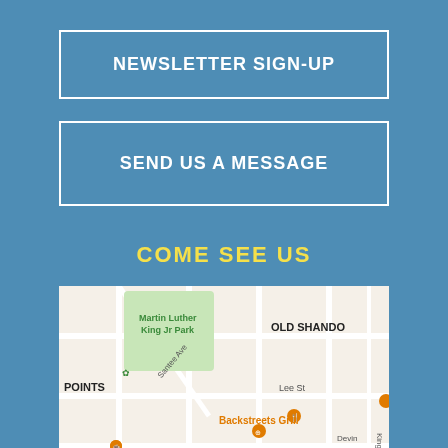NEWSLETTER SIGN-UP
SEND US A MESSAGE
COME SEE US
[Figure (map): Street map showing Martin Luther King Jr Park, OLD SHANDO area, Santee Ave, Lee St, Backstreets Grill, Blossom St, Terrace Way, King St, POINTS neighborhood, with orange map pins.]